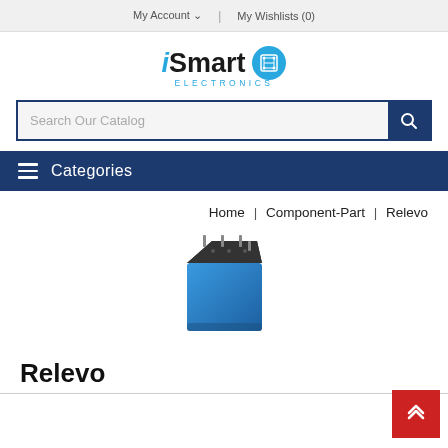My Account ∨  |  My Wishlists (0)
[Figure (logo): iSmart Electronics logo with circuit board icon]
Search Our Catalog
☰  Categories
Home | Component-Part | Relevo
[Figure (photo): Blue electronic relay/component with black top and metal pins]
Relevo